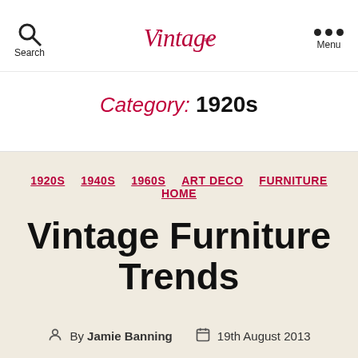Search | Vintage [logo] | Menu
Category: 1920s
1920S
1940S
1960S
ART DECO
FURNITURE
HOME
Vintage Furniture Trends
By Jamie Banning  19th August 2013